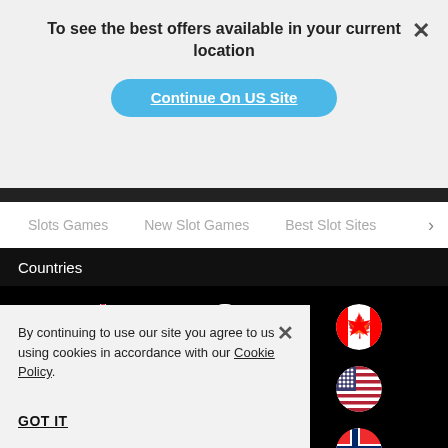To see the best offers available in your current location
Continue On US Site
Slots Games  New Slot Games  Best Slot Sites
Countries
[Figure (illustration): Grid of country flag circles: UK, Ireland, Canada, Australia, New Zealand, USA, Italy, Indonesia (partially visible), Norway]
By continuing to use our site you agree to us using cookies in accordance with our Cookie Policy. GOT IT